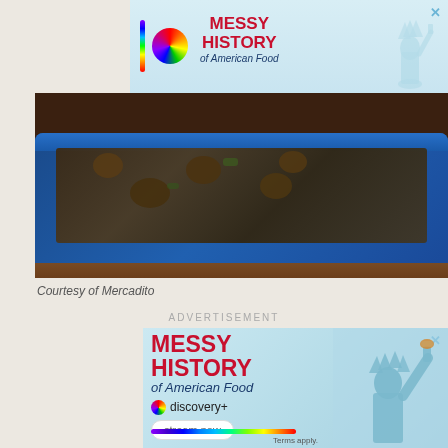[Figure (photo): Advertisement banner for 'Messy History of American Food' on discovery+, showing rainbow vertical bar, colorful disc logo, red bold text, and Statue of Liberty icon on light blue background]
[Figure (photo): Close-up photo of food in a blue speckled baking dish on a wooden surface]
Courtesy of Mercadito
ADVERTISEMENT
[Figure (photo): Advertisement for 'Messy History of American Food' on discovery+, with Statue of Liberty holding a hot dog, rainbow gradient bar, stream now button, and Terms apply text]